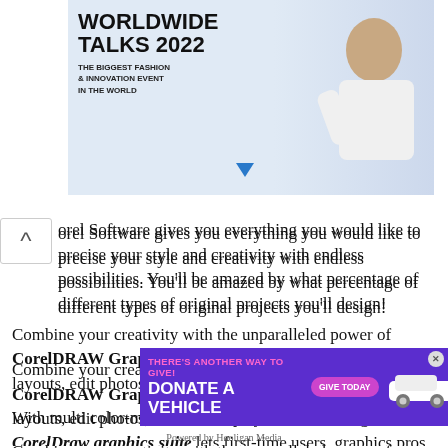[Figure (other): Advertisement banner for Worldwide Talks 2022 – The Biggest Fashion & Innovation Event In The World, with a Register Now button]
orel Software gives you everything you would like to precise your style and creativity with endless possibilities. You'll be amazed by what percentage of different types of original projects you'll design!
Combine your creativity with the unparalleled power of CorelDRAW Graphics Suite 2019 to style graphics and layouts, edit photos, and make websites.
With multi color-monitor 4K display screen viewing, the CorelDraw graphics suite lets first-time users, graphics pros, small bu...ssional results w...
[Figure (other): Advertisement banner: There's Another Way to Give! Donate a Vehicle – Give Today, with car image]
Powered by Hooligan Media